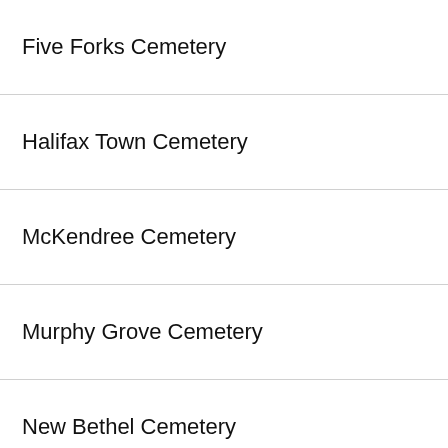Five Forks Cemetery
Halifax Town Cemetery
McKendree Cemetery
Murphy Grove Cemetery
New Bethel Cemetery
Pleasant Grove Cemetery
Union Cemetery